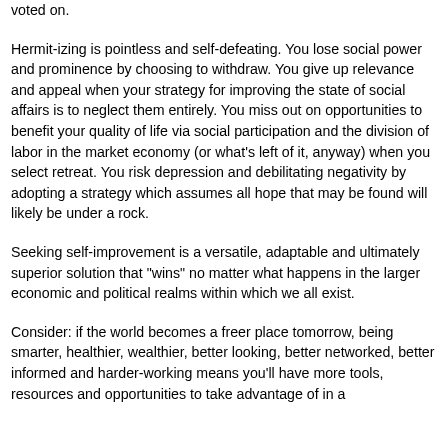voted on.
Hermit-izing is pointless and self-defeating. You lose social power and prominence by choosing to withdraw. You give up relevance and appeal when your strategy for improving the state of social affairs is to neglect them entirely. You miss out on opportunities to benefit your quality of life via social participation and the division of labor in the market economy (or what's left of it, anyway) when you select retreat. You risk depression and debilitating negativity by adopting a strategy which assumes all hope that may be found will likely be under a rock.
Seeking self-improvement is a versatile, adaptable and ultimately superior solution that "wins" no matter what happens in the larger economic and political realms within which we all exist.
Consider: if the world becomes a freer place tomorrow, being smarter, healthier, wealthier, better looking, better networked, better informed and harder-working means you'll have more tools, resources and opportunities to take advantage of in a